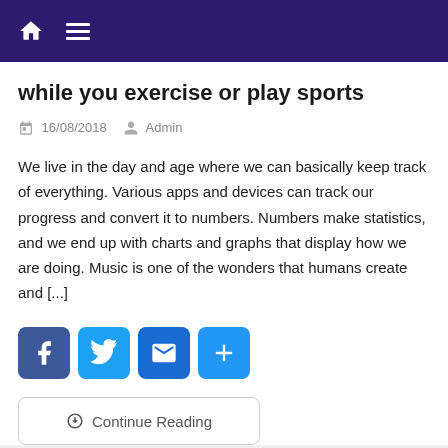Navigation bar with home icon and hamburger menu
while you exercise or play sports
16/08/2018   Admin
We live in the day and age where we can basically keep track of everything. Various apps and devices can track our progress and convert it to numbers. Numbers make statistics, and we end up with charts and graphs that display how we are doing. Music is one of the wonders that humans create and [...]
[Figure (infographic): Social share buttons: Facebook, Twitter, Email, and Share (plus icon)]
⊙ Continue Reading